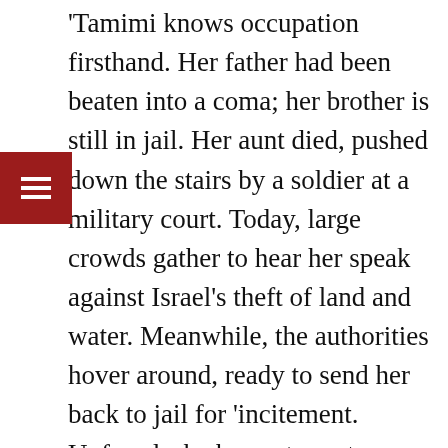'Tamimi knows occupation firsthand. Her father had been beaten into a coma; her brother is still in jail. Her aunt died, pushed down the stairs by a soldier at a military court. Today, large crowds gather to hear her speak against Israel’s theft of land and water. Meanwhile, the authorities hover around, ready to send her back to jail for ‘incitement. Unfazed, she hopes to go to college and someday confront Israel in international courts.
In a Jew-hating country like Pakistan that’s heavy in rhetoric against the ‘Zionist entity’, is Tamimi a heroic figure? Not so! Urdu columnists have barely mentioned her. Just a thin sliver of English-adept liberals recognise her name, as they